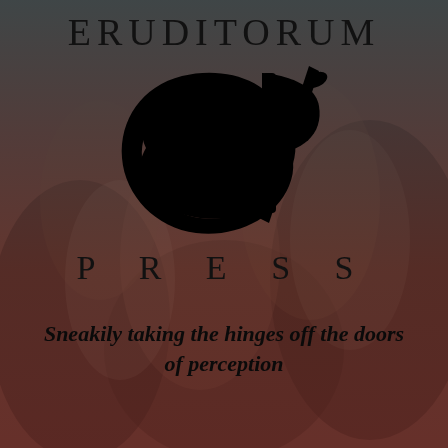[Figure (logo): Eruditorum Press logo page with background image of classical figures, dark teal/red overlay, stylized EP monogram logo, and tagline text]
ERUDITORUM
[Figure (logo): Stylized EP monogram in black — a large cursive E-like oval swoosh combined with a P letterform with a ribbon/feather element]
P R E S S
Sneakily taking the hinges off the doors of perception